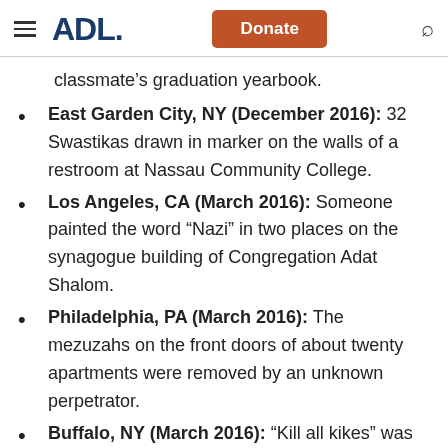ADL | Donate | Search
classmate's graduation yearbook.
East Garden City, NY (December 2016): 32 Swastikas drawn in marker on the walls of a restroom at Nassau Community College.
Los Angeles, CA (March 2016): Someone painted the word “Nazi” in two places on the synagogue building of Congregation Adat Shalom.
Philadelphia, PA (March 2016): The mezuzahs on the front doors of about twenty apartments were removed by an unknown perpetrator.
Buffalo, NY (March 2016): “Kill all kikes” was